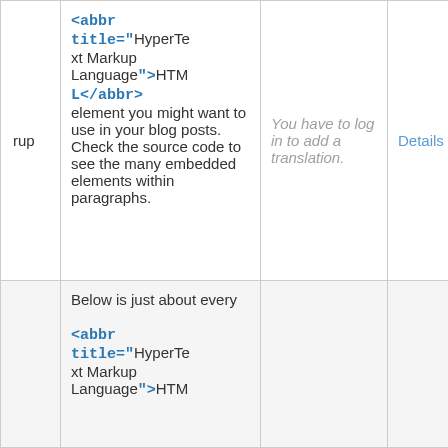|  | Content | Translation | Action |
| --- | --- | --- | --- |
| rup | <abbr title="HyperText Markup Language">HTML</abbr> element you might want to use in your blog posts. Check the source code to see the many embedded elements within paragraphs. | You have to log in to add a translation. | Details |
|  | Below is just about every <abbr title="HyperText Markup Language">HTM... |  |  |